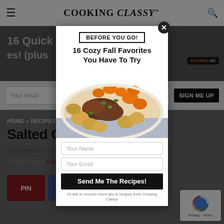COOKING CLASSY™
16 Quick ... es! (plus
Your email ... SIGN ME UP
HOME » RECIPES
Salted C... ewy}
DECEMBER 6, 2013
This post may c... policy.
[Figure (screenshot): Modal popup overlay on a cooking website. Contains 'BEFORE YOU GO!' header, '16 Cozy Fall Favorites You Have To Try' headline, a food photo of pot roast with carrots and potatoes, Your Name and Your Email input fields, a 'Send Me The Recipes!' submit button, and fine print about receiving tips from Cooking Classy.]
PIN
BEFORE YOU GO!
16 Cozy Fall Favorites You Have To Try
Your Name
Your Email
Send Me The Recipes!
I'd like to receive more tips & recipes from Cooking Classy